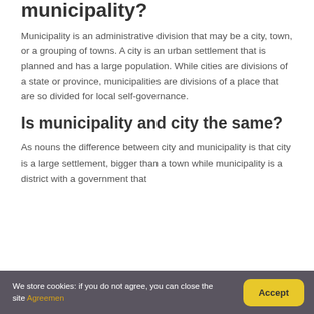municipality?
Municipality is an administrative division that may be a city, town, or a grouping of towns. A city is an urban settlement that is planned and has a large population. While cities are divisions of a state or province, municipalities are divisions of a place that are so divided for local self-governance.
Is municipality and city the same?
As nouns the difference between city and municipality is that city is a large settlement, bigger than a town while municipality is a district with a government that
We store cookies: if you do not agree, you can close the site Agreemen
Accept